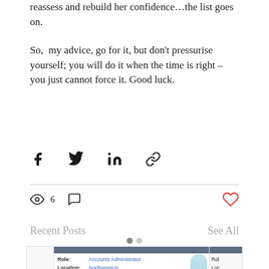reassess and rebuild her confidence…the list goes on.
So, my advice, go for it, but don't pressurise yourself; you will do it when the time is right – you just cannot force it. Good luck.
[Figure (infographic): Social share icons: Facebook, Twitter, LinkedIn, link/chain icon]
6 views, 0 comments, heart/like button
Recent Posts
See All
[Figure (screenshot): Carousel navigation dots (filled and unfilled)]
[Figure (screenshot): Job posting card: Role: Accounts Administrator, Location: Northampton, Salary: £27,000 - £32,000, Contact: carol@cjconsultingcic.co.uk, Carol Johnson, with illustration of a woman in blue suit]